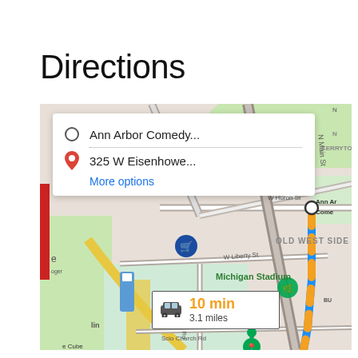Directions
[Figure (map): Google Maps screenshot showing directions from Ann Arbor Comedy Club to 325 W Eisenhower, Ann Arbor, MI. Route shown with blue and orange dashed line. Duration: 10 min, 3.1 miles. Map shows Kerrytown, Old West Side, Michigan Stadium, I-94, S Maple Rd, W Huron St, W Liberty St, Scio Church Rd neighborhoods. Directions card overlay shows origin (Ann Arbor Comedy...) and destination (325 W Eisenhowe...) with More options link.]